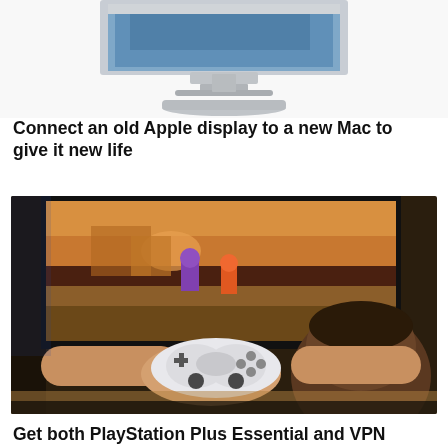[Figure (photo): Partial top of an Apple Cinema Display monitor on a white background, cropped at the top of the page]
Connect an old Apple display to a new Mac to give it new life
[Figure (photo): Person holding a white PlayStation 5 DualSense controller in front of a TV screen showing a colorful video game]
Get both PlayStation Plus Essential and VPN Unlimited subscriptions for under $70.